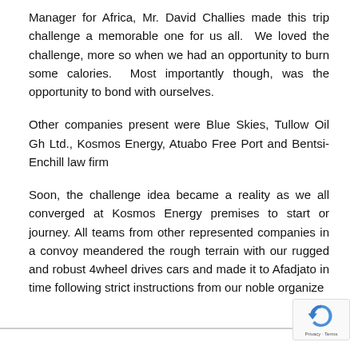Manager for Africa, Mr. David Challies made this trip challenge a memorable one for us all. We loved the challenge, more so when we had an opportunity to burn some calories. Most importantly though, was the opportunity to bond with ourselves.
Other companies present were Blue Skies, Tullow Oil Gh Ltd., Kosmos Energy, Atuabo Free Port and Bentsi-Enchill law firm
Soon, the challenge idea became a reality as we all converged at Kosmos Energy premises to start or journey. All teams from other represented companies in a convoy meandered the rough terrain with our rugged and robust 4wheel drives cars and made it to Afadjato in time following strict instructions from our noble organize